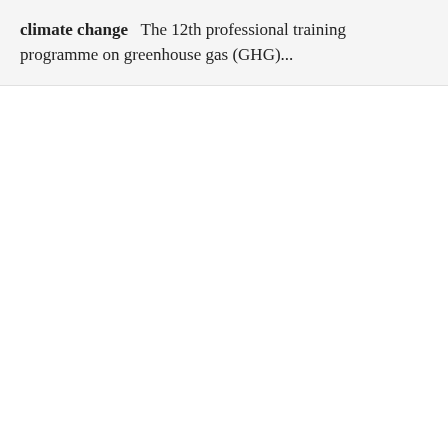climate change  The 12th professional training programme on greenhouse gas (GHG)...